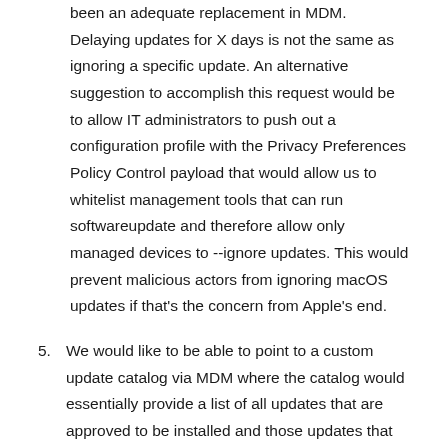been an adequate replacement in MDM. Delaying updates for X days is not the same as ignoring a specific update. An alternative suggestion to accomplish this request would be to allow IT administrators to push out a configuration profile with the Privacy Preferences Policy Control payload that would allow us to whitelist management tools that can run softwareupdate and therefore allow only managed devices to --ignore updates. This would prevent malicious actors from ignoring macOS updates if that's the concern from Apple's end.
5. We would like to be able to point to a custom update catalog via MDM where the catalog would essentially provide a list of all updates that are approved to be installed and those updates that are deprecated as chosen by the IT administrator. To ensure that the catalog is coming from a valid source, I am proposing